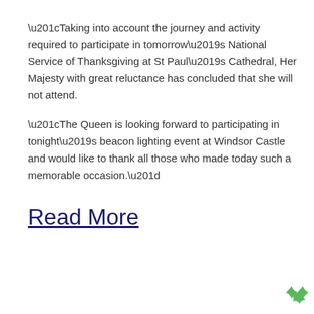“Taking into account the journey and activity required to participate in tomorrow’s National Service of Thanksgiving at St Paul’s Cathedral, Her Majesty with great reluctance has concluded that she will not attend.
“The Queen is looking forward to participating in tonight’s beacon lighting event at Windsor Castle and would like to thank all those who made today such a memorable occasion.”
Read More